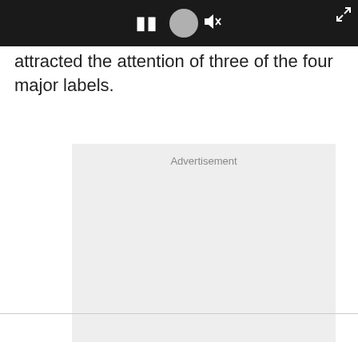[Figure (screenshot): Video player controls bar on dark background showing pause button, avatar/profile circle, and mute button, with expand icon in top-right corner]
attracted the attention of three of the four major labels.
[Figure (other): Advertisement placeholder box with light grey background and 'Advertisement' label at top]